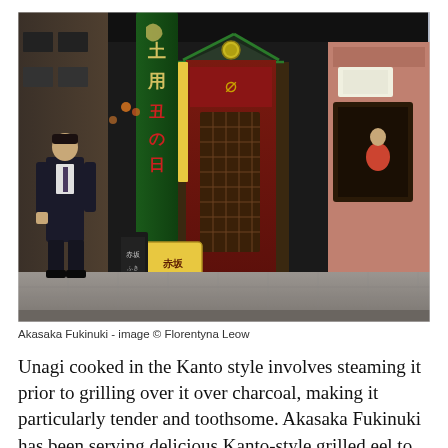[Figure (photo): Street-level photograph of Akasaka Fukinuki restaurant exterior in Japan. Shows a traditional Japanese restaurant entrance with dark wooden architecture, a large green fabric banner with Japanese characters hanging vertically, a yellow wooden sign board with Japanese text reading 赤坂 ふきぬき, and a man in a dark suit walking on the sidewalk to the left. The entrance has a decorative gabled roof with a circular emblem. Traditional-style windows and signage are visible on the right side.]
Akasaka Fukinuki - image © Florentyna Leow
Unagi cooked in the Kanto style involves steaming it prior to grilling over it over charcoal, making it particularly tender and toothsome. Akasaka Fukinuki has been serving delicious Kanto-style grilled eel to